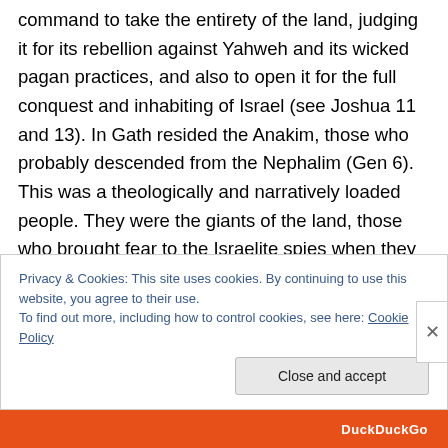command to take the entirety of the land, judging it for its rebellion against Yahweh and its wicked pagan practices, and also to open it for the full conquest and inhabiting of Israel (see Joshua 11 and 13). In Gath resided the Anakim, those who probably descended from the Nephalim (Gen 6). This was a theologically and narratively loaded people. They were the giants of the land, those who brought fear to the Israelite spies when they went to check out the land of promise. So, we have a historical enemy of God's people and we have a city that should have been conquered a long time ago and now has been
Privacy & Cookies: This site uses cookies. By continuing to use this website, you agree to their use.
To find out more, including how to control cookies, see here: Cookie Policy
Close and accept